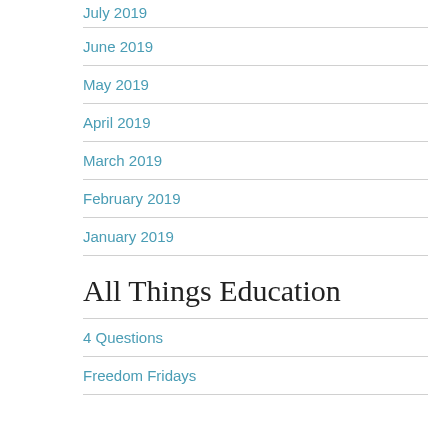July 2019
June 2019
May 2019
April 2019
March 2019
February 2019
January 2019
All Things Education
4 Questions
Freedom Fridays